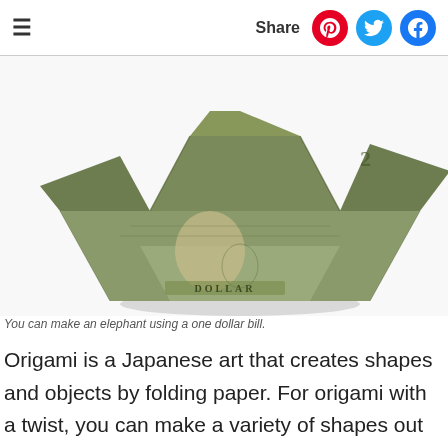≡   Share
[Figure (photo): A dollar bill folded into an origami elephant shape, photographed on a white background, showing the face of George Washington on the folded bill.]
You can make an elephant using a one dollar bill.
Origami is a Japanese art that creates shapes and objects by folding paper. For origami with a twist, you can make a variety of shapes out of other forms of paper, such as an elephant out of a paper bill. The process requires learning mountain and valley folds, both of which are a bit challenging. But after some practice, you'll have a new party trick to impress family